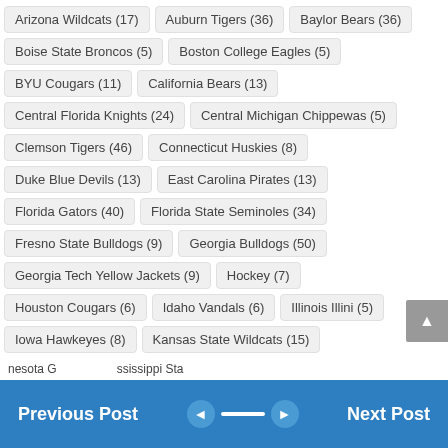Arizona Wildcats (17)
Auburn Tigers (36)
Baylor Bears (36)
Boise State Broncos (5)
Boston College Eagles (5)
BYU Cougars (11)
California Bears (13)
Central Florida Knights (24)
Central Michigan Chippewas (5)
Clemson Tigers (46)
Connecticut Huskies (8)
Duke Blue Devils (13)
East Carolina Pirates (13)
Florida Gators (40)
Florida State Seminoles (34)
Fresno State Bulldogs (9)
Georgia Bulldogs (50)
Georgia Tech Yellow Jackets (9)
Hockey (7)
Houston Cougars (6)
Idaho Vandals (6)
Illinois Illini (5)
Iowa Hawkeyes (8)
Kansas State Wildcats (15)
Kentucky Wildcats (7)
Louisville Cardinals (30)
LSU Tigers (55)
Miami Hurricanes (22)
Michigan State Spartans (38)
Minnesota G...
...sissippi Sta...
Previous Post  ◄  ►  Next Post